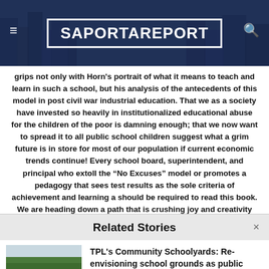SaportaReport
grips not only with Horn's portrait of what it means to teach and learn in such a school, but his analysis of the antecedents of this model in post civil war industrial education. That we as a society have invested so heavily in institutionalized educational abuse for the children of the poor is damning enough; that we now want to spread it to all public school children suggest what a grim future is in store for most of our population if current economic trends continue! Every school board, superintendent, and principal who extoll the “No Excuses” model or promotes a pedagogy that sees test results as the sole criteria of achievement and learning a should be required to read this book. We are heading down a path that is crushing joy and creativity among more and more of our young people, and driving the best teachers out of the profession. –Mark Naison. Professor of
Related Stories
[Figure (photo): Outdoor photo of a school yard or park area with trees, fence, and a person visible in the background]
TPL's Community Schoolyards: Re-envisioning school grounds as public parks